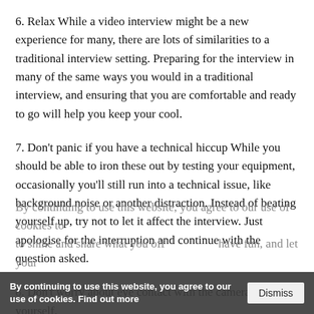6. Relax While a video interview might be a new experience for many, there are lots of similarities to a traditional interview setting. Preparing for the interview in many of the same ways you would in a traditional interview, and ensuring that you are comfortable and ready to go will help you keep your cool.
7. Don't panic if you have a technical hiccup While you should be able to iron these out by testing your equipment, occasionally you'll still run into a technical issue, like background noise or another distraction. Instead of beating yourself up, try not to let it affect the interview. Just apologise for the interruption and continue with the question asked.
8. Don't worry about eye contact with the camera Be yourself. By continuing to use this website... to shine and share what you off... have fun, and let your
By continuing to use this website, you agree to our use of cookies. Find out more